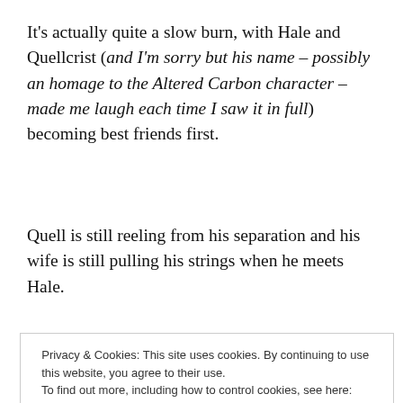It's actually quite a slow burn, with Hale and Quellcrist (and I'm sorry but his name – possibly an homage to the Altered Carbon character – made me laugh each time I saw it in full) becoming best friends first.
Quell is still reeling from his separation and his wife is still pulling his strings when he meets Hale.
The way Quell began to have feelings for Hale
Privacy & Cookies: This site uses cookies. By continuing to use this website, you agree to their use.
To find out more, including how to control cookies, see here:
Cookie Policy
Close and accept
more a dawning awareness of someone else's